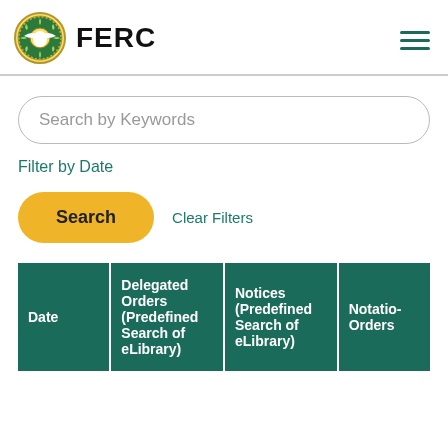FERC
Search by Keywords
Filter by Date
Search  Clear Filters
| Date | Delegated Orders (Predefined Search of eLibrary) | Notices (Predefined Search of eLibrary) | Notation Orders |
| --- | --- | --- | --- |